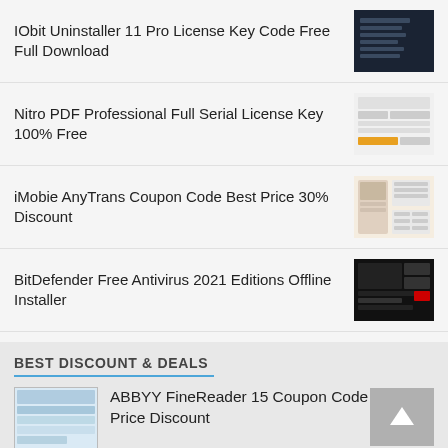IObit Uninstaller 11 Pro License Key Code Free Full Download
Nitro PDF Professional Full Serial License Key 100% Free
iMobie AnyTrans Coupon Code Best Price 30% Discount
BitDefender Free Antivirus 2021 Editions Offline Installer
BEST DISCOUNT & DEALS
ABBYY FineReader 15 Coupon Code 60% Off Price Discount
Nitro PDF Pro Coupon Code Best Price up to 50% Off Discount